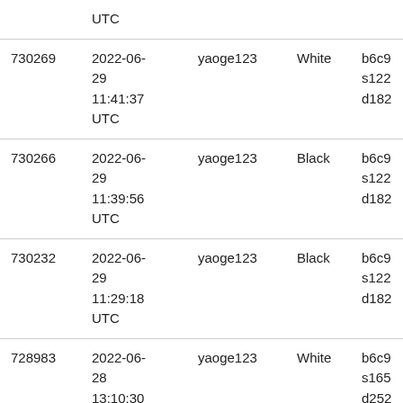|  | UTC |  |  |  |
| 730269 | 2022-06-29
11:41:37
UTC | yaoge123 | White | b6c9
s122
d182 |
| 730266 | 2022-06-29
11:39:56
UTC | yaoge123 | Black | b6c9
s122
d182 |
| 730232 | 2022-06-29
11:29:18
UTC | yaoge123 | Black | b6c9
s122
d182 |
| 728983 | 2022-06-28
13:10:30
UTC | yaoge123 | White | b6c9
s165
d252 |